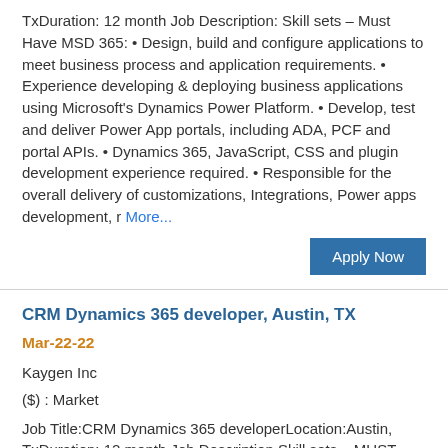TxDuration: 12 month Job Description: Skill sets – Must Have MSD 365: • Design, build and configure applications to meet business process and application requirements. • Experience developing & deploying business applications using Microsoft's Dynamics Power Platform. • Develop, test and deliver Power App portals, including ADA, PCF and portal APIs. • Dynamics 365, JavaScript, CSS and plugin development experience required. • Responsible for the overall delivery of customizations, Integrations, Power apps development, r More...
Apply Now
CRM Dynamics 365 developer, Austin, TX
Mar-22-22
Kaygen Inc
($) : Market
Job Title:CRM Dynamics 365 developerLocation:Austin, TxDuration: 12 month Job Description Skill sets – MUST HAVE MSD 365: •